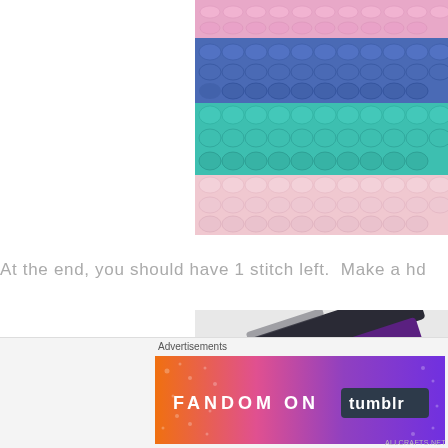[Figure (photo): Close-up photo of colorful crochet stitches in stripes of pink, blue, teal/turquoise, and light pink yarn]
At the end, you should have 1 stitch left.  Make a hd
[Figure (photo): Photo of dark scissors on a light background, partially visible]
[Figure (other): FANDOM ON tumblr advertisement banner with colorful gradient background]
Advertisements